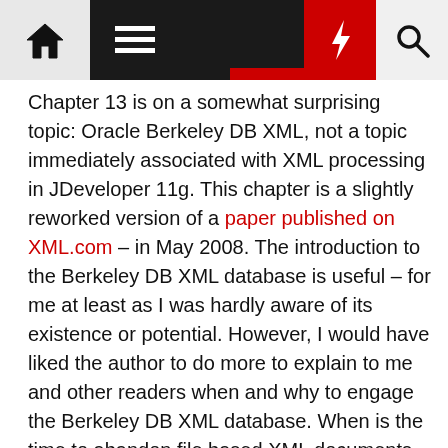Navigation bar with home icon, menu icon, lightning bolt, and search icon
Chapter 13 is on a somewhat surprising topic: Oracle Berkeley DB XML, not a topic immediately associated with XML processing in JDeveloper 11g. This chapter is a slightly reworked version of a paper published on XML.com – in May 2008. The introduction to the Berkeley DB XML database is useful – for me at least as I was hardly aware of its existence or potential. However, I would have liked the author to do more to explain to me and other readers when and why to engage the Berkeley DB XML database. When is the time to abandon file based XML documents that are processed using DOM Parsing and XPath querying and switch over to Berkeley DB XML? What does it add in terms of functionality or scalability? What is the price I pay for that added functionality or performance? Is it